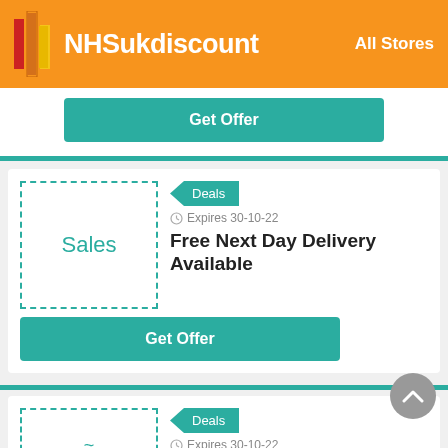NHSukdiscount — All Stores
Get Offer
[Figure (screenshot): Deal card with dashed border placeholder image showing 'Sales' label, Deals badge, Expires 30-10-22, 'Free Next Day Delivery Available' title, and Get Offer button]
Deals
Expires 30-10-22
Free Next Day Delivery Available
Get Offer
Deals
Expires 30-10-22